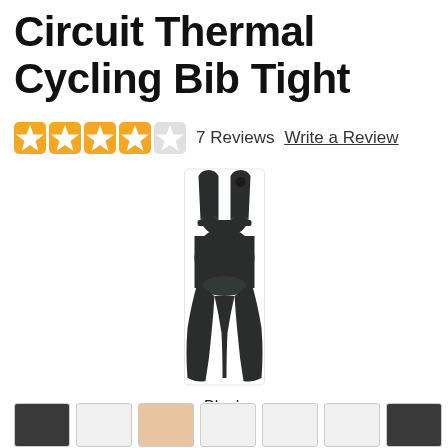Circuit Thermal Cycling Bib Tight
7 Reviews   Write a Review
[Figure (photo): Product photo of Circuit Thermal Cycling Bib Tight in Black colorway. Shows full-length black cycling bib tights with shoulder straps, viewed from the front on a white background.]
Black
[Figure (photo): Row of product thumbnail images at the bottom of the page, showing various color/view options of the bib tight.]